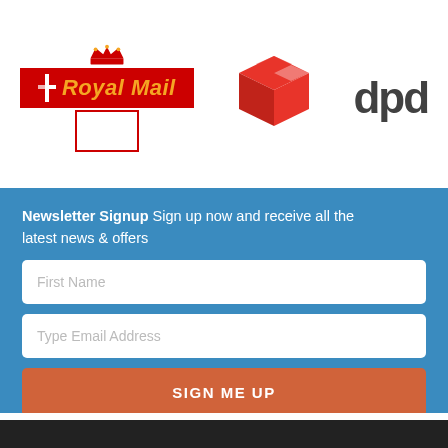[Figure (logo): Royal Mail logo with crown, red background and yellow italic text, with red-bordered envelope below]
[Figure (logo): DPD red 3D parcel box logo]
[Figure (logo): DPD text logo in dark grey bold]
Newsletter Signup Sign up now and receive all the latest news & offers
First Name
Type Email Address
SIGN ME UP